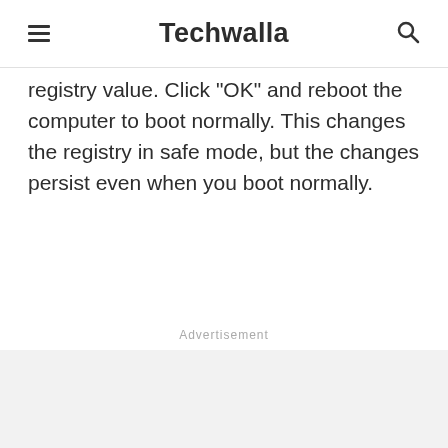Techwalla
registry value. Click "OK" and reboot the computer to boot normally. This changes the registry in safe mode, but the changes persist even when you boot normally.
Advertisement